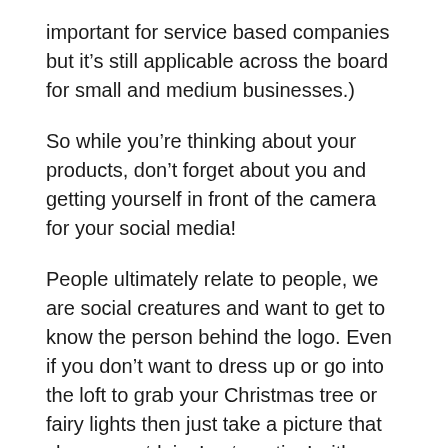important for service based companies but it's still applicable across the board for small and medium businesses.)
So while you're thinking about your products, don't forget about you and getting yourself in front of the camera for your social media!
People ultimately relate to people, we are social creatures and want to get to know the person behind the logo. Even if you don't want to dress up or go into the loft to grab your Christmas tree or fairy lights then just take a picture that shows you 'doing' or 'creating' with a few added festive touches to the image. Instant Christmassy selfie!